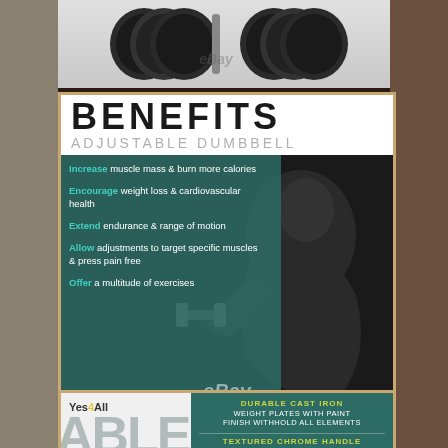[Figure (photo): Black weight plates for adjustable dumbbell set, viewed from front, with eBay watermark]
BENEFITS
ADJUSTABLE DUMBBELL
[Figure (photo): Muscular man curling a dumbbell, dark background, teal overlay panel with benefits list and eBay watermark]
Increase muscle mass & burn more calories
Encourage weight loss & cardiovascular health
Extend endurance & range of motion
Allow adjustments to target specific muscles & press pain free
Offer a multitude of exercises
[Figure (infographic): Yes4All branded bottom panel with partial text ADJUSTABLE DUMBBELL overlaid, teal right section listing product features]
DURABLE CAST IRON WEIGHT PLATES WITH PAINT FINISH WITHHOLD ALL ELEMENTS
TEXTURED CHROME HANDLE FOR FIRM & SECURE GRIP
STAR-LOCK COLLARS WITH RUBBER TRIMS